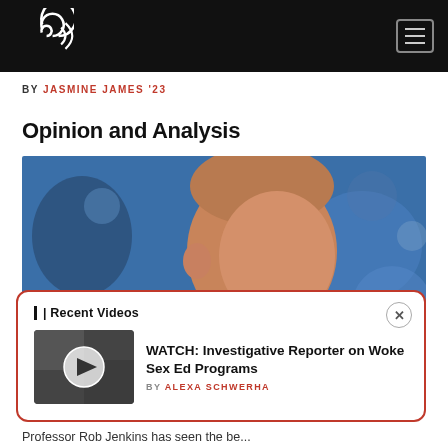BY JASMINE JAMES '23
Opinion and Analysis
[Figure (photo): Close-up profile photo of an older man speaking at an event, blue background with blurred crowd]
| Recent Videos
WATCH: Investigative Reporter on Woke Sex Ed Programs
BY ALEXA SCHWERHA
Professor Rob Jenkins has seen the be...